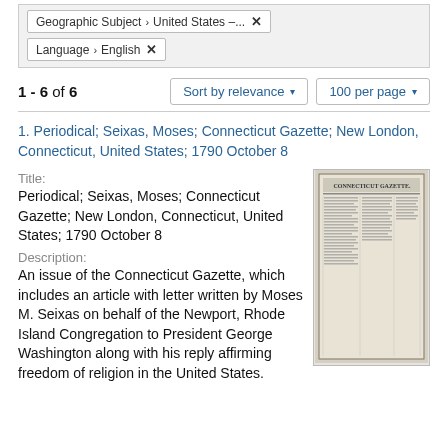Geographic Subject > United States – ... ×
Language > English ×
1 - 6 of 6
Sort by relevance ▾
100 per page ▾
1. Periodical; Seixas, Moses; Connecticut Gazette; New London, Connecticut, United States; 1790 October 8
Title:
Periodical; Seixas, Moses; Connecticut Gazette; New London, Connecticut, United States; 1790 October 8
Description:
An issue of the Connecticut Gazette, which includes an article with letter written by Moses M. Seixas on behalf of the Newport, Rhode Island Congregation to President George Washington along with his reply affirming freedom of religion in the United States.
[Figure (photo): Thumbnail image of the Connecticut Gazette newspaper front page, showing old printed text in columns.]